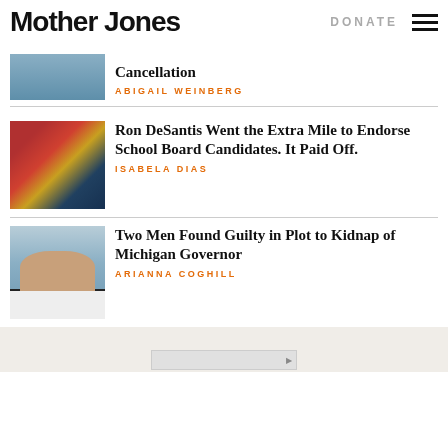Mother Jones | DONATE
Cancellation
ABIGAIL WEINBERG
[Figure (photo): Partial image of article about cancellation]
Ron DeSantis Went the Extra Mile to Endorse School Board Candidates. It Paid Off.
ISABELA DIAS
[Figure (photo): Photo of Ron DeSantis at a rally with supporters holding signs including Keep Florida Free]
Two Men Found Guilty in Plot to Kidnap of Michigan Governor
ARIANNA COGHILL
[Figure (photo): Photo of a woman with long brown hair, blue background, likely Michigan Governor Gretchen Whitmer]